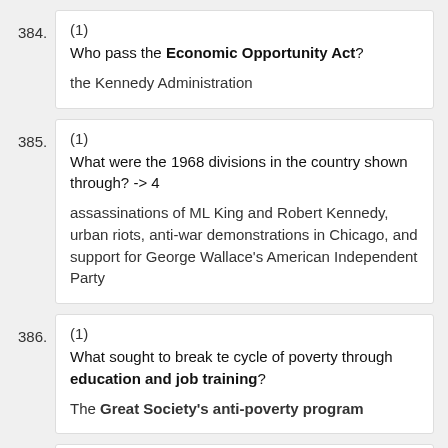384. (1) Who pass the Economic Opportunity Act? the Kennedy Administration
385. (1) What were the 1968 divisions in the country shown through? -> 4 assassinations of ML King and Robert Kennedy, urban riots, anti-war demonstrations in Chicago, and support for George Wallace's American Independent Party
386. (1) What sought to break te cycle of poverty through education and job training? The Great Society's anti-poverty program